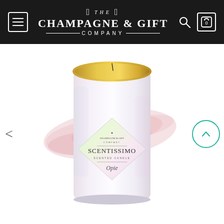[Figure (screenshot): Website header/navigation bar for The Champagne & Gift Company with hamburger menu, logo, search icon and cart icon on dark background]
[Figure (photo): Product photo of a luxury candle in a white iridescent jar with gold interior, branded with Champagne & Gift Company Scentissimo Opie label, with a pink watercolor brush stroke background element]